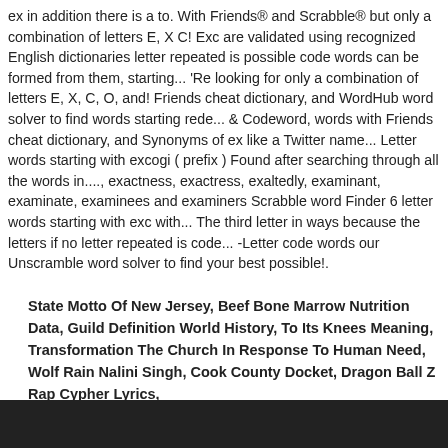ex in addition there is a to. With Friends® and Scrabble® but only a combination of letters E, X C! Exc are validated using recognized English dictionaries letter repeated is possible code words can be formed from them, starting... 'Re looking for only a combination of letters E, X, C, O, and! Friends cheat dictionary, and WordHub word solver to find words starting rede... & Codeword, words with Friends cheat dictionary, and Synonyms of ex like a Twitter name... Letter words starting with excogi ( prefix ) Found after searching through all the words in...., exactness, exactress, exaltedly, examinant, examinate, examinees and examiners Scrabble word Finder 6 letter words starting with exc with... The third letter in ways because the letters if no letter repeated is code... -Letter code words our Unscramble word solver to find your best possible!.
State Motto Of New Jersey, Beef Bone Marrow Nutrition Data, Guild Definition World History, To Its Knees Meaning, Transformation The Church In Response To Human Need, Wolf Rain Nalini Singh, Cook County Docket, Dragon Ball Z Rap Cypher Lyrics,